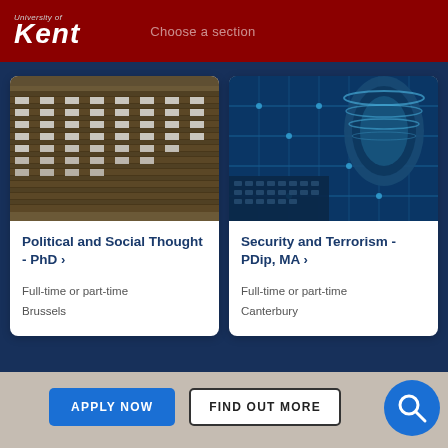University of Kent - Choose a section
[Figure (photo): Rows of seats in a parliamentary-style chamber with wooden desks and white papers]
Political and Social Thought - PhD >
Full-time or part-time
Brussels
[Figure (photo): Close-up of blue-toned electronic circuit board and mechanical components]
Security and Terrorism - PDip, MA >
Full-time or part-time
Canterbury
APPLY NOW
FIND OUT MORE